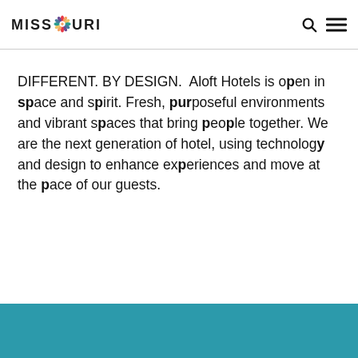MISSOURI [logo]
DIFFERENT. BY DESIGN. Aloft Hotels is open in space and spirit. Fresh, purposeful environments and vibrant spaces that bring people together. We are the next generation of hotel, using technology and design to enhance experiences and move at the pace of our guests.